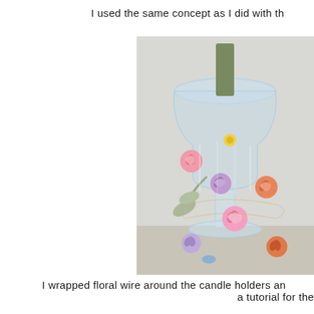I used the same concept as I did with th
[Figure (photo): A crystal glass candle holder with colorful paper rolled roses (pink, purple, orange, lavender) wrapped around it with floral wire, stems with grey-green leaves, candle inside.]
I wrapped floral wire around the candle holders an
a tutorial for the